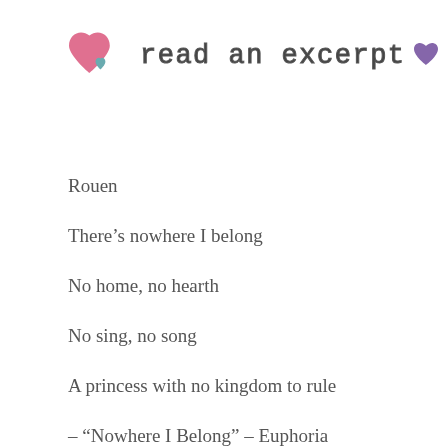[Figure (illustration): Decorative header with two hearts (large pink heart and small teal/blue heart) and the text 'read an excerpt' in a playful outlined font, with a small purple heart emoji at the end]
Rouen
There's nowhere I belong
No home, no hearth
No sing, no song
A princess with no kingdom to rule
– “Nowhere I Belong” – Euphoria
It’s December 24, Christmas Eve in the mortal